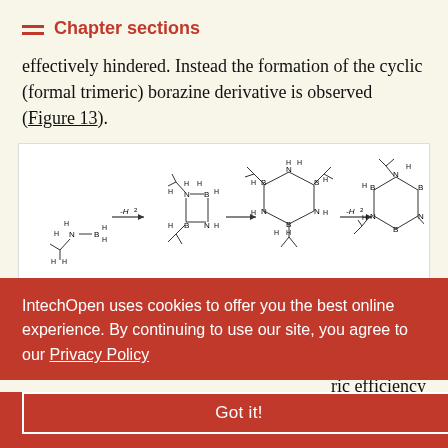Chapter sections
effectively hindered. Instead the formation of the cyclic (formal trimeric) borazine derivative is observed (Figure 13).
[Figure (chemistry-diagram): Chemical reaction scheme showing decomposition pathway: amine-borane compound losing H2 to form a cyclic dimer, then losing H2 again to form a borazine ring (trimeric product). Four structures shown with arrows between them.]
Figure 13.
Observed decomposition products of SBAB
…ric efficiency …metal …80 °C
employing 1% RuCl(PMe₃)- as catalyst-precursor